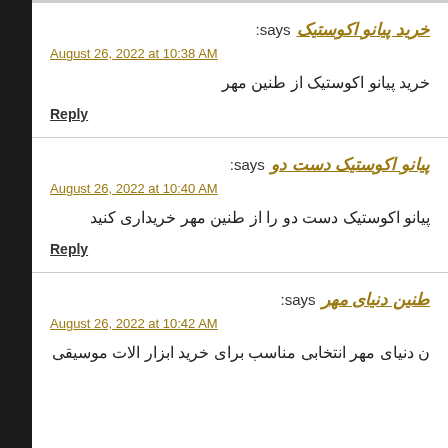خرید پیانو اکوستیک says: August 26, 2022 at 10:38 AM
خرید پیانو اکوستیک از طنین مهر
Reply
پیانو اکوستیک دست دو says: August 26, 2022 at 10:40 AM
پیانو اکوستیک دست دو را از طنین مهر خریداری کنید
Reply
طنین دنیای مهر says: August 26, 2022 at 10:42 AM
ن دنیای مهر انتخابی مناسب برای خرید ابزار الات موسیقی